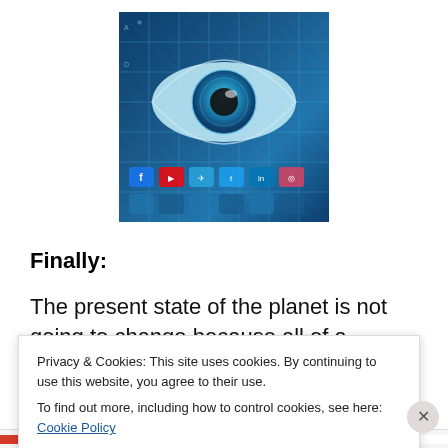[Figure (photo): Close-up of a human eye overlaid on a blue digital background with social media icons and grid lines — a surveillance/digital privacy themed image]
Finally:
The present state of the planet is not going to change because all of a sudden we are all beating our chests
Privacy & Cookies: This site uses cookies. By continuing to use this website, you agree to their use.
To find out more, including how to control cookies, see here: Cookie Policy
Close and accept